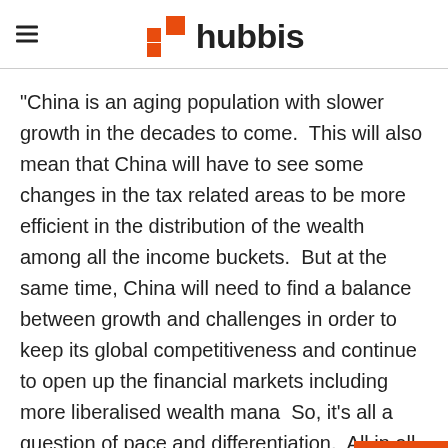hubbis
“China is an aging population with slower growth in the decades to come.  This will also mean that China will have to see some changes in the tax related areas to be more efficient in the distribution of the wealth among all the income buckets.  But at the same time, China will need to find a balance between growth and challenges in order to keep its global competitiveness and continue to open up the financial markets including more liberalised wealth mana…  So, it's all a question of pace and differentiation.  All in all, we see more opportunities coming out